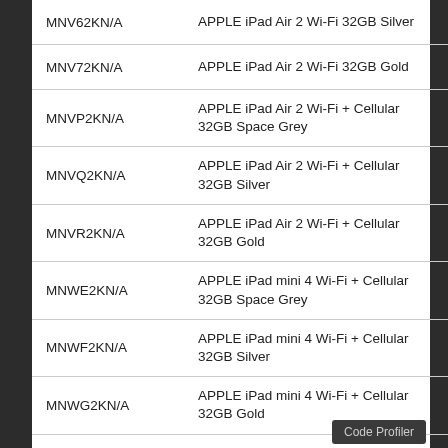| SKU | Product Name | Info |
| --- | --- | --- |
| MNV62KN/A | APPLE iPad Air 2 Wi-Fi 32GB Silver | ℹ |
| MNV72KN/A | APPLE iPad Air 2 Wi-Fi 32GB Gold | ℹ |
| MNVP2KN/A | APPLE iPad Air 2 Wi-Fi + Cellular 32GB Space Grey | ℹ |
| MNVQ2KN/A | APPLE iPad Air 2 Wi-Fi + Cellular 32GB Silver | ℹ |
| MNVR2KN/A | APPLE iPad Air 2 Wi-Fi + Cellular 32GB Gold | ℹ |
| MNWE2KN/A | APPLE iPad mini 4 Wi-Fi + Cellular 32GB Space Grey | ℹ |
| MNWF2KN/A | APPLE iPad mini 4 Wi-Fi + Cellular 32GB Silver | ℹ |
| MNWG2KN/A | APPLE iPad mini 4 Wi-Fi + Cellular 32GB Gold | ℹ |
| MNY12KN/A | APPLE iPad mini 4 Wi-Fi 32GB Space Grey | ℹ |
Code Profiler